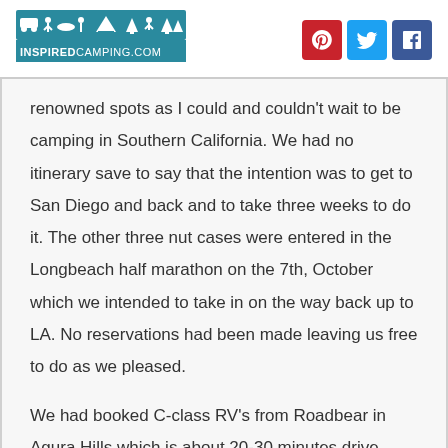[Figure (logo): InspiredCamping.com logo with camping icons and teal background]
[Figure (infographic): Pinterest, Twitter, and Facebook social media icon buttons]
renowned spots as I could and couldn't wait to be camping in Southern California. We had no itinerary save to say that the intention was to get to San Diego and back and to take three weeks to do it. The other three nut cases were entered in the Longbeach half marathon on the 7th, October which we intended to take in on the way back up to LA. No reservations had been made leaving us free to do as we pleased.
We had booked C-class RV's from Roadbear in Agura Hills which is about 20-30 minutes drive north from